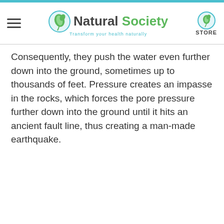Natural Society — Transform your health naturally | STORE
Consequently, they push the water even further down into the ground, sometimes up to thousands of feet. Pressure creates an impasse in the rocks, which forces the pore pressure further down into the ground until it hits an ancient fault line, thus creating a man-made earthquake.